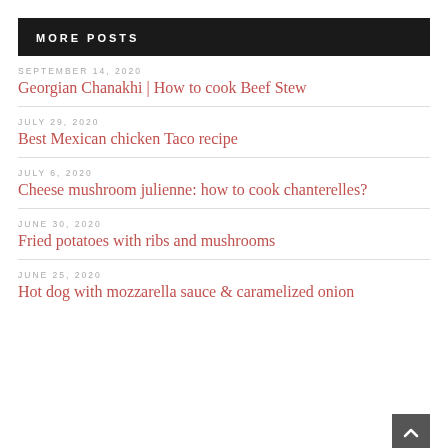MORE POSTS
SEPTEMBER 14, 2020
Georgian Chanakhi | How to cook Beef Stew
JULY 29, 2020
Best Mexican chicken Taco recipe
JULY 6, 2020
Cheese mushroom julienne: how to cook chanterelles?
JUNE 30, 2020
Fried potatoes with ribs and mushrooms
JUNE 25, 2020
Hot dog with mozzarella sauce & caramelized onion